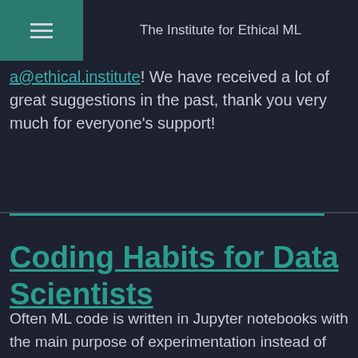The Institute for Ethical ML
a@ethical.institute! We have received a lot of great suggestions in the past, thank you very much for everyone's support!
Coding Habits for Data Scientists
Often ML code is written in Jupyter notebooks with the main purpose of experimentation instead of scalability, which may come with undesired side-effects and